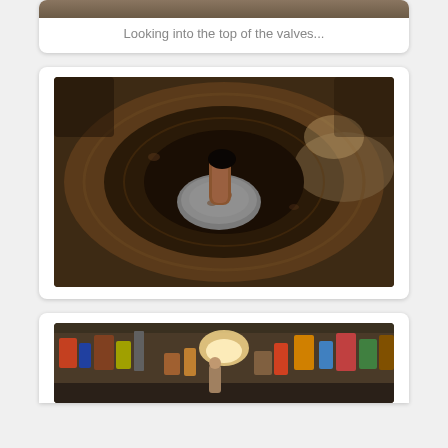Looking into the top of the valves...
[Figure (photo): Close-up view looking down into the top of a corroded pipe valve, showing a circular rust-covered interior with a valve stem and disk visible in the center.]
[Figure (photo): A cluttered workshop or store interior with many tools, equipment, and items on shelves and walls, brightly lit.]